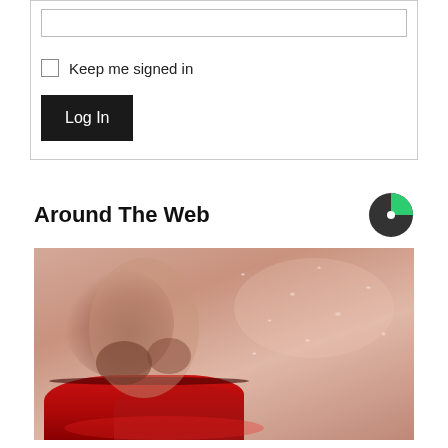[Figure (screenshot): Login form fragment showing a text input field, a 'Keep me signed in' checkbox, and a dark 'Log In' button]
Keep me signed in
Around The Web
[Figure (logo): Outbrain circular logo icon — dark grey left half, green upper-right quarter]
[Figure (photo): Close-up macro photo of a face showing nose and red lips with dry flaky skin texture]